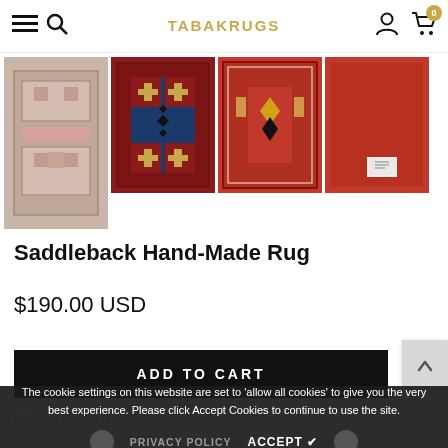TABAK RUGS
[Figure (photo): Four thumbnail images of Saddleback Hand-Made Rug: first is a pinkish/beige geometric rug, second is a dark red and blue geometric rug, third is a red geometric rug, fourth is plain red back of rug]
Saddleback Hand-Made Rug
$190.00 USD
ADD TO CART
The cookie settings on this website are set to 'allow all cookies' to give you the very best experience. Please click Accept Cookies to continue to use the site.
PRIVACY POLICY   ACCEPT ✔